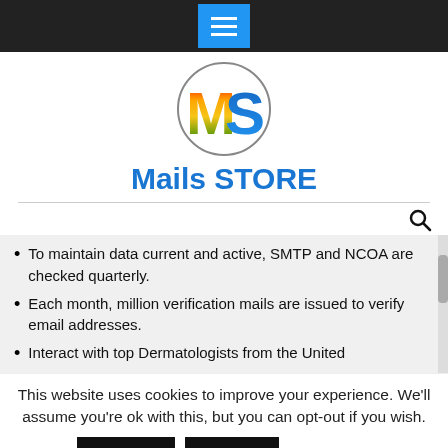[Figure (screenshot): Dark navigation bar with centered blue hamburger menu button containing three white horizontal lines]
[Figure (logo): Circular logo with colorful rainbow 'M' and blue 'S' letters inside a gray circle border]
Mails STORE
To maintain data current and active, SMTP and NCOA are checked quarterly.
Each month, million verification mails are issued to verify email addresses.
Interact with top Dermatologists from the United
This website uses cookies to improve your experience. We'll assume you're ok with this, but you can opt-out if you wish.
Accept   Reject   Read More